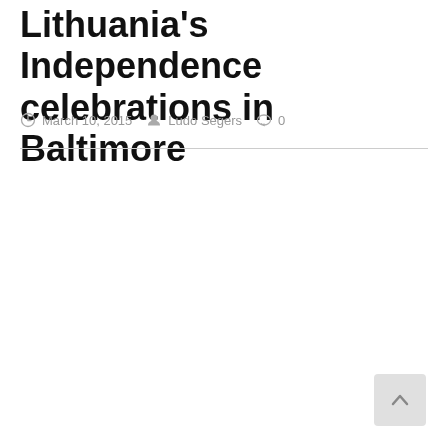Lithuania's Independence celebrations in Baltimore
March 10, 2015   Ludo Segers   0